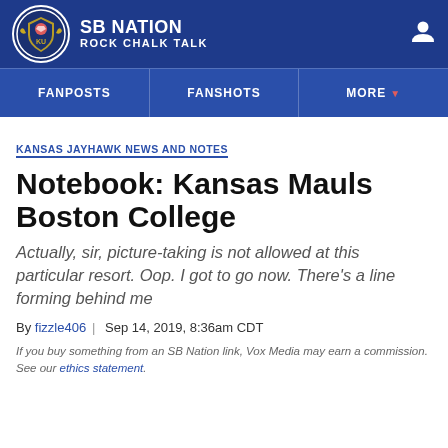SB NATION / ROCK CHALK TALK
FANPOSTS | FANSHOTS | MORE
KANSAS JAYHAWK NEWS AND NOTES
Notebook: Kansas Mauls Boston College
Actually, sir, picture-taking is not allowed at this particular resort. Oop. I got to go now. There’s a line forming behind me
By fizzle406 | Sep 14, 2019, 8:36am CDT
If you buy something from an SB Nation link, Vox Media may earn a commission. See our ethics statement.